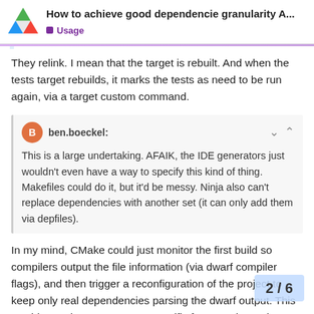How to achieve good dependencie granularity A... | Usage
They relink. I mean that the target is rebuilt. And when the tests target rebuilds, it marks the tests as need to be run again, via a target custom command.
ben.boeckel: This is a large undertaking. AFAIK, the IDE generators just wouldn't even have a way to specify this kind of thing. Makefiles could do it, but it'd be messy. Ninja also can't replace dependencies with another set (it can only add them via depfiles).
In my mind, CMake could just monitor the first build so compilers output the file information (via dwarf compiler flags), and then trigger a reconfiguration of the project to keep only real dependencies parsing the dwarf output. This would not rely on generators specific features, but rather on support and a tool to parse. Either an alre
2 / 6